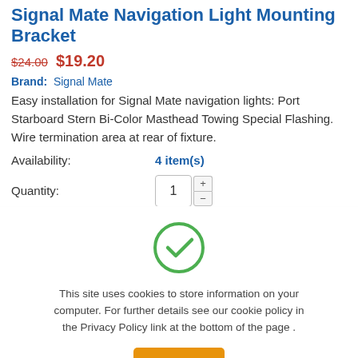Signal Mate Navigation Light Mounting Bracket
$24.00  $19.20
Brand:  Signal Mate
Easy installation for Signal Mate navigation lights: Port Starboard Stern Bi-Color Masthead Towing Special Flashing. Wire termination area at rear of fixture.
Availability:  4 item(s)
Quantity:  1
[Figure (illustration): Green circle checkmark icon indicating cookie consent]
This site uses cookies to store information on your computer. For further details see our cookie policy in the Privacy Policy link at the bottom of the page .
Ok